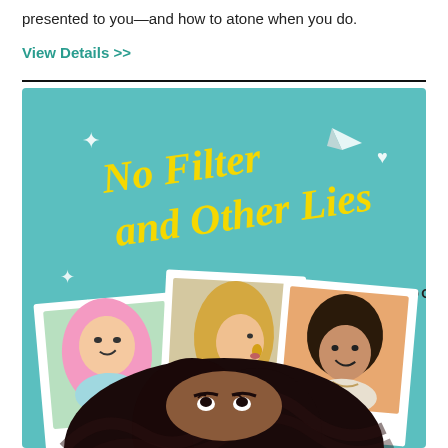presented to you—and how to atone when you do.
View Details >>
[Figure (illustration): Book cover for 'No Filter and Other Lies' by Crystal Maldonado. Teal background with illustrated Polaroid-style photos of three characters: a girl with pink curly hair, a blonde girl in profile, and a dark-haired boy. In the foreground, a dark-haired girl with wavy hair looks up. Title in yellow cursive lettering at top.]